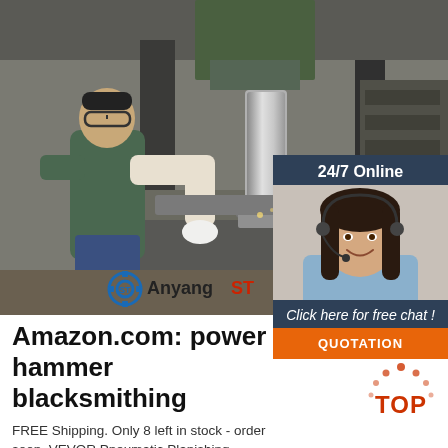[Figure (photo): Workshop photo of a man operating a power hammer / forging press on a large metal workpiece. Anyang ST logo in lower left of image.]
[Figure (photo): Chat widget overlay showing a customer service woman with headset, '24/7 Online' header, 'Click here for free chat!' text, and orange QUOTATION button.]
Amazon.com: power hammer blacksmithing
FREE Shipping. Only 8 left in stock - order soon. VEVOR Pneumatic Planishing Hammer, 19.63' Throat Power Hammer Blacksmithing, Planishing Hammer Auto 1/2/3' Radius Anvil, Planishing Air Hammer, English Wheel